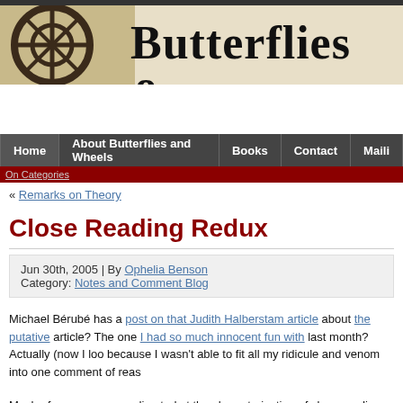[Figure (screenshot): Website header banner with clock image and 'Butterflies &' text logo on tan/beige background]
Home | About Butterflies and Wheels | Books | Contact | Maili
On Categories
« Remarks on Theory
Close Reading Redux
Jun 30th, 2005 | By Ophelia Benson
Category: Notes and Comment Blog
Michael Bérubé has a post on that Judith Halberstam article about the putative article? The one I had so much innocent fun with last month? Actually (now I loo because I wasn't able to fit all my ridicule and venom into one comment of reas
Much of my venom was directed at the characterization of close reading as 'eliti
But, while Spivak's investment in the "close reading" and formalism h